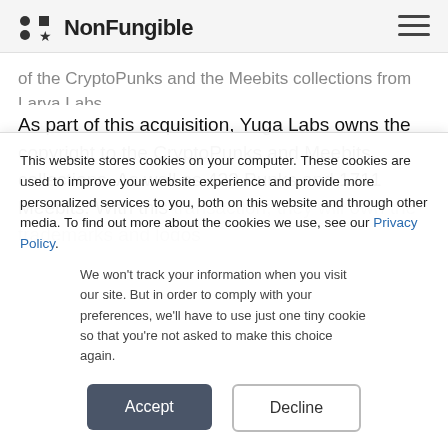NonFungible
of the CryptoPunks and the Meebits collections from Larva Labs.
As part of this acquisition, Yuga Labs owns the copyright to the CryptoPunks and Meebits collections. As well as 423 Punks and 1711 Meebits. With this transaction, they will own the trademarks and logos
This website stores cookies on your computer. These cookies are used to improve your website experience and provide more personalized services to you, both on this website and through other media. To find out more about the cookies we use, see our Privacy Policy.
We won't track your information when you visit our site. But in order to comply with your preferences, we'll have to use just one tiny cookie so that you're not asked to make this choice again.
Accept
Decline